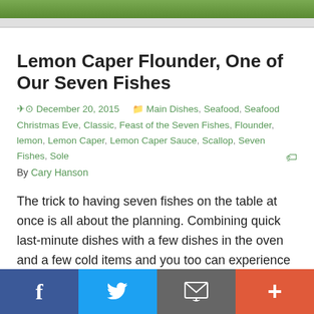[Figure (photo): Website header banner with green outdoor/landscape imagery]
Lemon Caper Flounder, One of Our Seven Fishes
December 20, 2015   Main Dishes, Seafood, Seafood Christmas Eve, Classic, Feast of the Seven Fishes, Flounder, lemon, Lemon Caper, Lemon Caper Sauce, Scallop, Seven Fishes, Sole
By Cary Hanson
The trick to having seven fishes on the table at once is all about the planning. Combining quick last-minute dishes with a few dishes in the oven and a few cold items and you too can experience the dreamy Italian American Christmas Eve tradition at home. Lemon Caper Sole A
Facebook  Twitter  Email  More